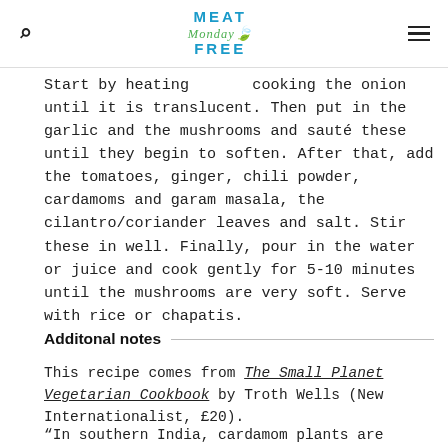Meat Monday Free
Start by heating and cooking the onion until it is translucent. Then put in the garlic and the mushrooms and sauté these until they begin to soften. After that, add the tomatoes, ginger, chili powder, cardamoms and garam masala, the cilantro/coriander leaves and salt. Stir these in well. Finally, pour in the water or juice and cook gently for 5-10 minutes until the mushrooms are very soft. Serve with rice or chapatis.
Additonal notes
This recipe comes from The Small Planet Vegetarian Cookbook by Troth Wells (New Internationalist, £20).
“In southern India, cardamom plants are common, and